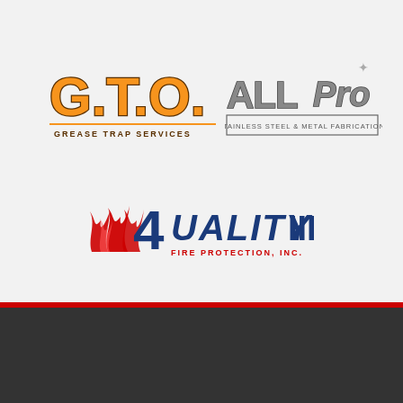[Figure (logo): G.T.O. Grease Trap Services logo - orange and brown lettering with tagline]
[Figure (logo): ALLPro Stainless Steel & Metal Fabrication logo - silver/grey metallic lettering]
[Figure (logo): Quality III Fire Protection, Inc. logo - blue text with red flame and numeral 4]
Copyright © 2022 | Website Design